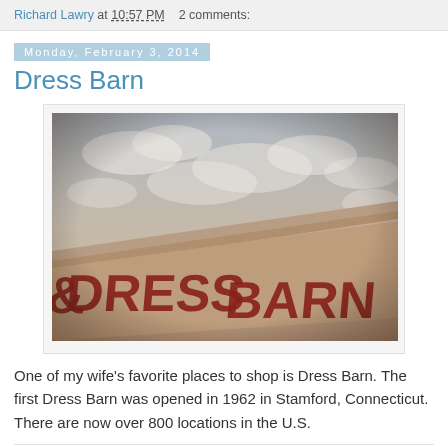Richard Lawry at 10:57 PM   2 comments:
Monday, February 3, 2014
Dress Barn
[Figure (photo): Upward-angle photo of a Dress Barn store exterior sign against a partly cloudy sky, with a vintage/sepia-toned filter applied.]
One of my wife's favorite places to shop is Dress Barn.  The first Dress Barn was opened in 1962 in Stamford, Connecticut.  There are now over 800 locations in the U.S.